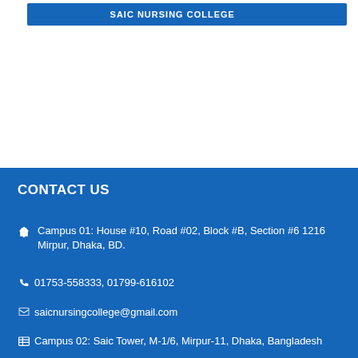SAIC NURSING COLLEGE (partial nav bar)
CONTACT US
Campus 01: House #10, Road #02, Block #B, Section #6 1216 Mirpur, Dhaka, BD.
01753-558333, 01799-616102
saicnursingcollege@gmail.com
Campus 02: Saic Tower, M-1/6, Mirpur-11, Dhaka, Bangladesh